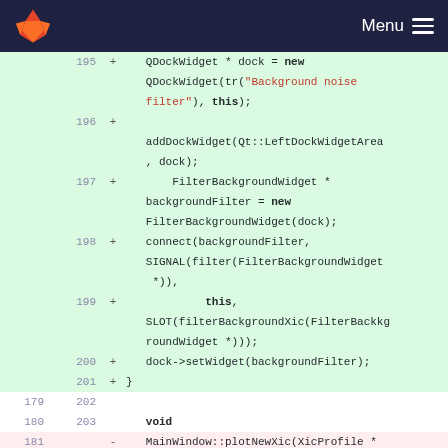Menu (GitLab navigation bar)
[Figure (screenshot): Code diff view showing added lines 195-201 (green background) and context lines 179/202, 180/203, and removed line 181 (red background) from a C++ source file with Qt framework code]
195 + QDockWidget * dock = new QDockWidget(tr("Background noise filter"), this);
196 +  addDockWidget(Qt::LeftDockWidgetArea, dock);
197 +     FilterBackgroundWidget * backgroundFilter = new FilterBackgroundWidget(dock);
198 +   connect(backgroundFilter, SIGNAL(filter(FilterBackgroundWidget *)),
199 +          this, SLOT(filterBackgroundXic(FilterBackgroundWidget *)));
200 +   dock->setWidget(backgroundFilter);
201 + }
179 202
180 203  void
181    - MainWindow::plotNewXic(XicProfile *